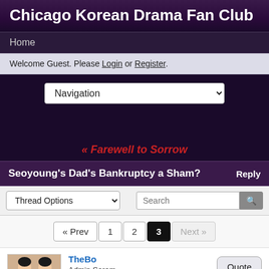Chicago Korean Drama Fan Club
Home
Welcome Guest. Please Login or Register.
[Figure (screenshot): Navigation dropdown selector]
« Farewell to Sorrow
Seoyoung's Dad's Bankruptcy a Sham?
[Figure (screenshot): Thread Options dropdown and Search input with button]
[Figure (screenshot): Pagination: « Prev, 1, 2, 3 (active), Next »]
[Figure (screenshot): Forum post by TheBo, Admin Saram, 5 stars, May 2, 2006 at 7:16pm, with Quote button]